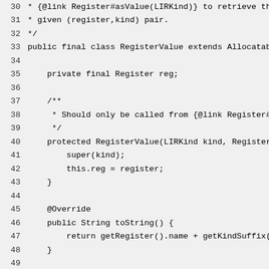Source code listing lines 30-59 of RegisterValue Java class
30  * {@link Register#asValue(LIRKind)} to retrieve the
31  * given (register,kind) pair.
32  */
33 public final class RegisterValue extends Allocatable
34
35      private final Register reg;
36
37      /**
38       * Should only be called from {@link Register#Re
39       */
40      protected RegisterValue(LIRKind kind, Register r
41           super(kind);
42           this.reg = register;
43      }
44
45      @Override
46      public String toString() {
47           return getRegister().name + getKindSuffix().
48      }
49
50      /**
51       * @return the register that contains the value
52       */
53      public Register getRegister() {
54           return reg;
55      }
56
57      @Override
58      public int hashCode() {
59           return 29 * super.hashCode() + reg.hashCode